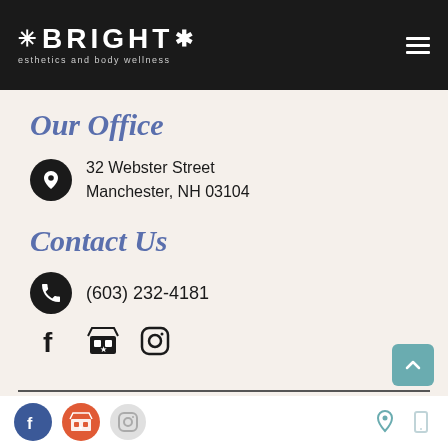BRIGHT esthetics and body wellness
Our Office
32 Webster Street
Manchester, NH 03104
Contact Us
(603) 232-4181
[Figure (other): Social media icons: Facebook, Shop, Instagram]
[Figure (other): Footer bar with Facebook, Shop, Instagram icons on left and location/phone icons on right]